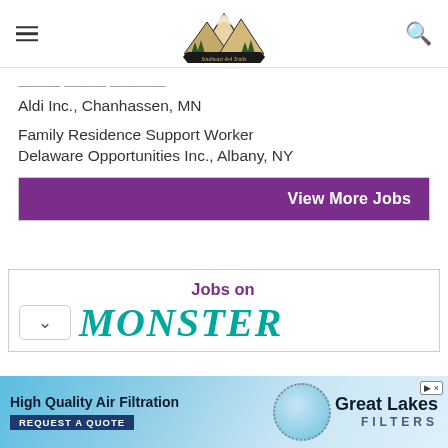[Figure (logo): Website header with hamburger menu icon on left, mountain/forest logo (Southeast 4x4 Trails) in center, and search icon on right]
Aldi Inc., Chanhassen, MN
Family Residence Support Worker
Delaware Opportunities Inc., Albany, NY
View More Jobs
Jobs on
[Figure (logo): Monster job board logo in teal/green italic bold uppercase lettering]
[Figure (advertisement): High Quality Air Filtration - Great Lakes Filters advertisement banner with blue background and dotted circle graphic]